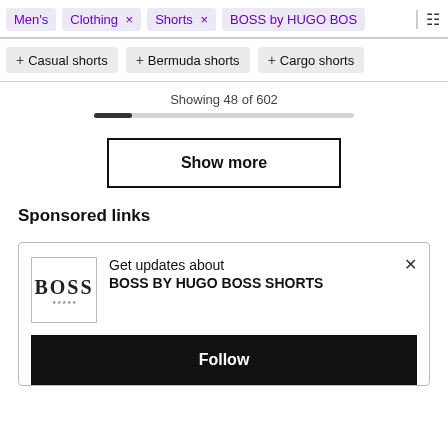Men's  Clothing ×  Shorts ×  BOSS by HUGO BOS
+ Casual shorts  + Bermuda shorts  + Cargo shorts
Showing 48 of 602
Show more
Sponsored links
Get updates about BOSS BY HUGO BOSS SHORTS
Follow